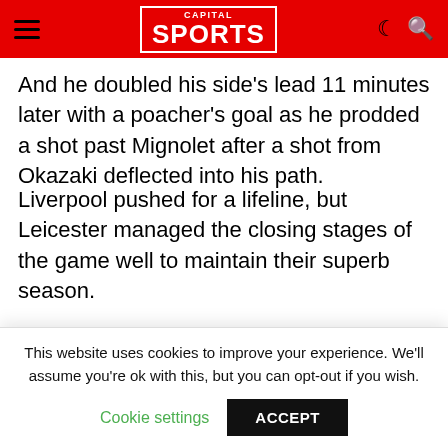Capital Sports
And he doubled his side's lead 11 minutes later with a poacher's goal as he prodded a shot past Mignolet after a shot from Okazaki deflected into his path.
Liverpool pushed for a lifeline, but Leicester managed the closing stages of the game well to maintain their superb season.
In this article:
This website uses cookies to improve your experience. We'll assume you're ok with this, but you can opt-out if you wish.